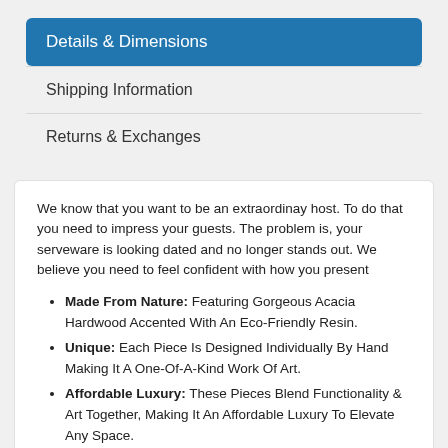Details & Dimensions
Shipping Information
Returns & Exchanges
We know that you want to be an extraordinay host. To do that you need to impress your guests. The problem is, your serveware is looking dated and no longer stands out. We believe you need to feel confident with how you present
Made From Nature: Featuring Gorgeous Acacia Hardwood Accented With An Eco-Friendly Resin.
Unique: Each Piece Is Designed Individually By Hand Making It A One-Of-A-Kind Work Of Art.
Affordable Luxury: These Pieces Blend Functionality & Art Together, Making It An Affordable Luxury To Elevate Any Space.